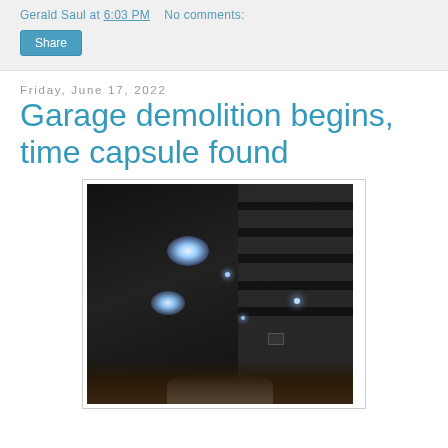Gerald Saul at 6:03 PM   No comments:
Share
Friday, June 17, 2022
Garage demolition begins, time capsule found
[Figure (photo): Interior photo of a dark garage ceiling showing rafters and insulation with bright light fixtures visible]